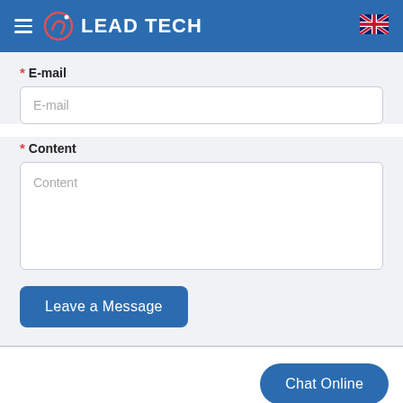LEAD TECH
* E-mail
E-mail (placeholder)
* Content
Content (placeholder)
Leave a Message
Chat Online